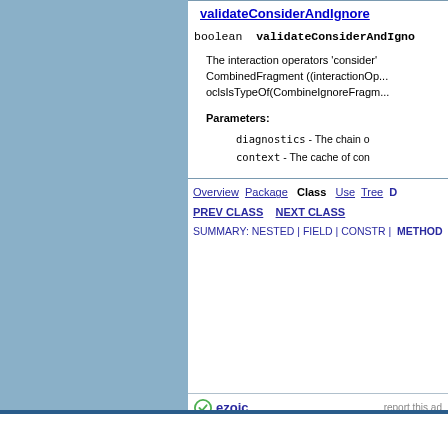validateConsiderAndIgno...
boolean validateConsiderAndIgno...
The interaction operators 'consider' CombinedFragment ((interactionOp... oclsIsTypeOf(CombineIgnoreFragm...
Parameters:
  diagnostics - The chain o...
  context - The cache of con...
Overview Package Class Use Tree D... | PREV CLASS NEXT CLASS | SUMMARY: NESTED | FIELD | CONSTR | METHOD D...
ezoic    report this ad